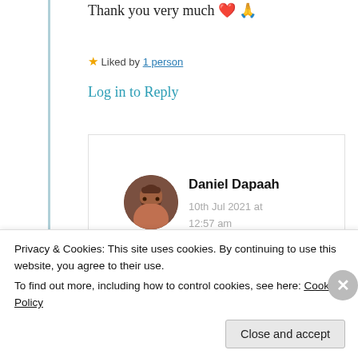Thank you very much ❤️ 🙏
★ Liked by 1 person
Log in to Reply
Daniel Dapaah
10th Jul 2021 at 12:57 am
You most welcome, and
Privacy & Cookies: This site uses cookies. By continuing to use this website, you agree to their use.
To find out more, including how to control cookies, see here: Cookie Policy
Close and accept